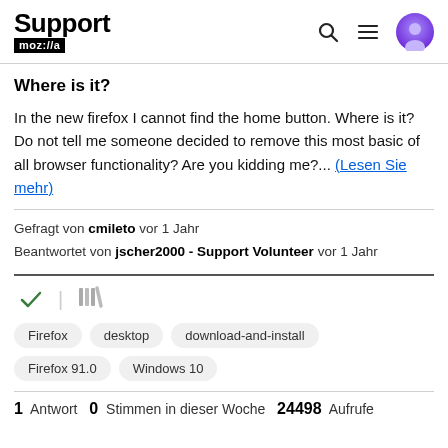Support moz://a
Where is it?
In the new firefox I cannot find the home button. Where is it? Do not tell me someone decided to remove this most basic of all browser functionality? Are you kidding me?... (Lesen Sie mehr)
Gefragt von cmileto vor 1 Jahr
Beantwortet von jscher2000 - Support Volunteer vor 1 Jahr
Firefox desktop download-and-install Firefox 91.0 Windows 10
1 Antwort  0 Stimmen in dieser Woche  24498 Aufrufe